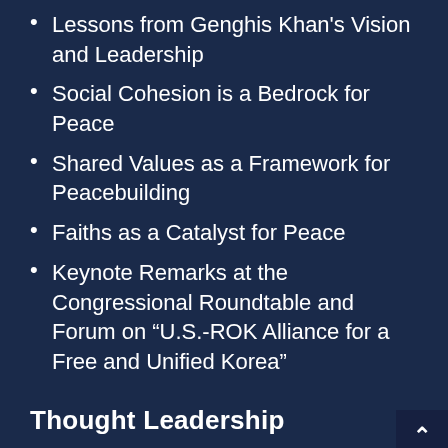Lessons from Genghis Khan's Vision and Leadership
Social Cohesion is a Bedrock for Peace
Shared Values as a Framework for Peacebuilding
Faiths as a Catalyst for Peace
Keynote Remarks at the Congressional Roundtable and Forum on “U.S.-ROK Alliance for a Free and Unified Korea”
Thought Leadership
One Family Under God
Universal Principles and Shared Values